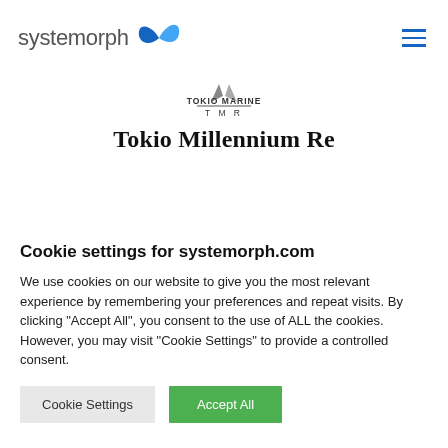[Figure (logo): Systemorph logo with blue butterfly icon and grey text]
[Figure (logo): Tokio Marine TMR logo with stylized wing shapes above TOKIO MARINE and T M R text]
Tokio Millennium Re
Cookie settings for systemorph.com
We use cookies on our website to give you the most relevant experience by remembering your preferences and repeat visits. By clicking "Accept All", you consent to the use of ALL the cookies. However, you may visit "Cookie Settings" to provide a controlled consent.
Cookie Settings | Accept All